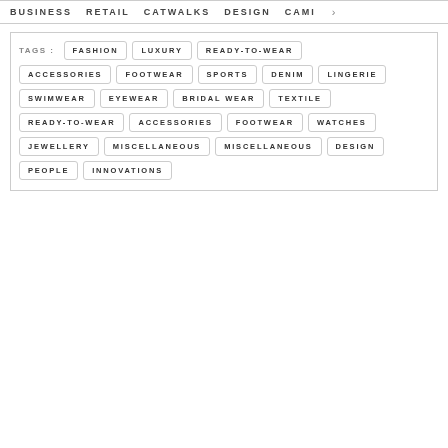BUSINESS  RETAIL  CATWALKS  DESIGN  CAMI >
TAGS: FASHION LUXURY READY-TO-WEAR ACCESSORIES FOOTWEAR SPORTS DENIM LINGERIE SWIMWEAR EYEWEAR BRIDAL WEAR TEXTILE READY-TO-WEAR ACCESSORIES FOOTWEAR WATCHES JEWELLERY MISCELLANEOUS MISCELLANEOUS DESIGN PEOPLE INNOVATIONS